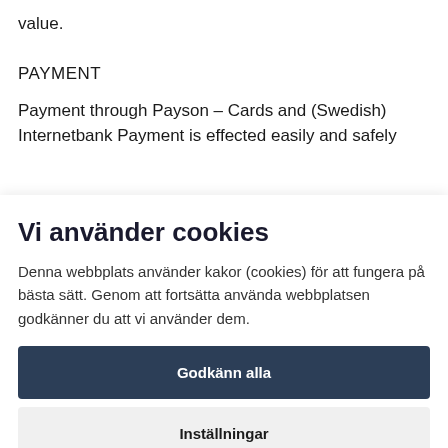value.
PAYMENT
Payment through Payson – Cards and (Swedish) Internetbank Payment is effected easily and safely
Vi använder cookies
Denna webbplats använder kakor (cookies) för att fungera på bästa sätt. Genom att fortsätta använda webbplatsen godkänner du att vi använder dem.
Godkänn alla
Inställningar